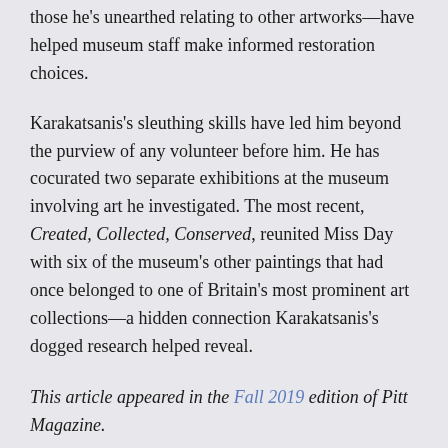those he's unearthed relating to other artworks—have helped museum staff make informed restoration choices.
Karakatsanis's sleuthing skills have led him beyond the purview of any volunteer before him. He has cocurated two separate exhibitions at the museum involving art he investigated. The most recent, Created, Collected, Conserved, reunited Miss Day with six of the museum's other paintings that had once belonged to one of Britain's most prominent art collections—a hidden connection Karakatsanis's dogged research helped reveal.
This article appeared in the Fall 2019 edition of Pitt Magazine.